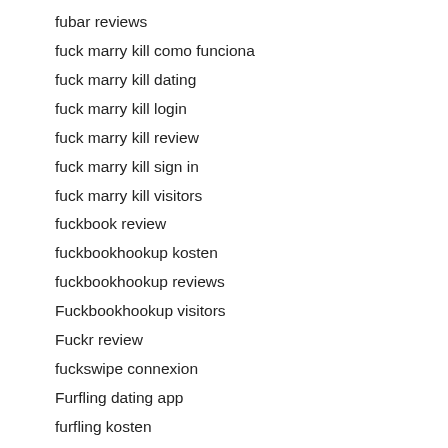fubar reviews
fuck marry kill como funciona
fuck marry kill dating
fuck marry kill login
fuck marry kill review
fuck marry kill sign in
fuck marry kill visitors
fuckbook review
fuckbookhookup kosten
fuckbookhookup reviews
Fuckbookhookup visitors
Fuckr review
fuckswipe connexion
Furfling dating app
furfling kosten
furfling sito di incontri
gainesville escort service
gainesville what is an escort